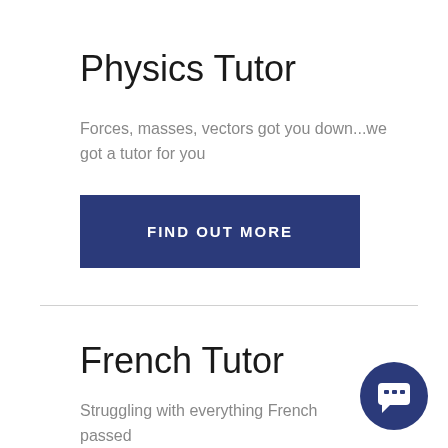Physics Tutor
Forces, masses, vectors got you down...we got a tutor for you
FIND OUT MORE
French Tutor
Struggling with everything French passed